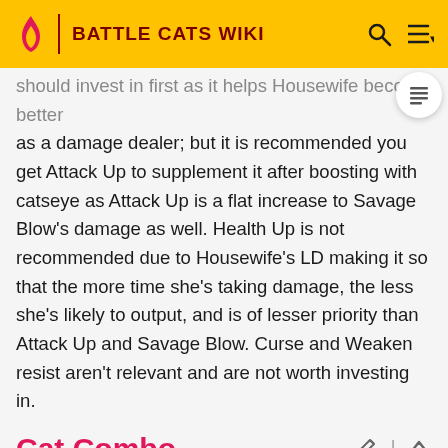Battle Cats Wiki
should invest in first as it helps Housewife become better as a damage dealer; but it is recommended you get Attack Up to supplement it after boosting with catseye as Attack Up is a flat increase to Savage Blow's damage as well. Health Up is not recommended due to Housewife's LD making it so that the more time she's taking damage, the less she's likely to output, and is of lesser priority than Attack Up and Savage Blow. Curse and Weaken resist aren't relevant and are not worth investing in.
Cat Combo
| Combo | Units | Cat Images | Effect  [Expand] |
| --- | --- | --- | --- |